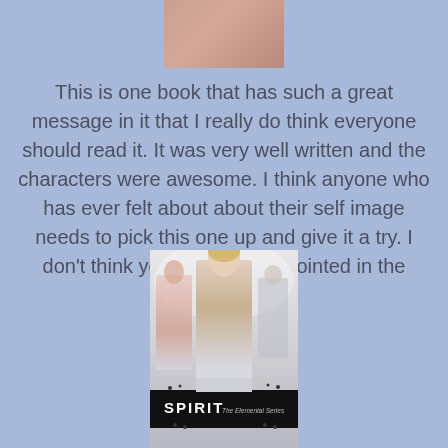[Figure (photo): Top portion of a book cover or person photo, cropped, showing skin tones]
This is one book that has such a great message in it that I really do think everyone should read it. It was very well written and the characters were awesome. I think anyone who has ever felt about about their self image needs to pick this one up and give it a try. I don't think you will be disappointed in the least.
[Figure (photo): Book cover for 'Spirit - The Elemental Series' showing young male figures on a misty background with a dark title band]